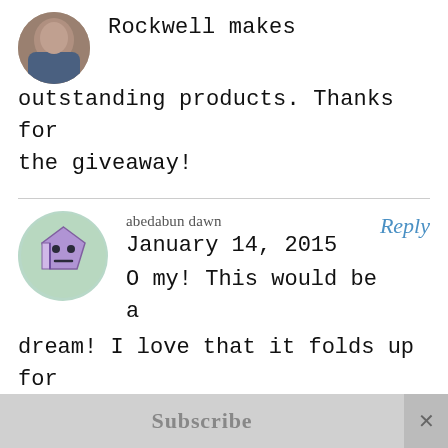[Figure (photo): Circular avatar photo of a person, cropped at top of page]
Rockwell makes outstanding products. Thanks for the giveaway!
abedabun dawn
January 14, 2015
O my! This would be a dream! I love that it folds up for easy storage and the vice is a
[Figure (illustration): Circular avatar with light green background containing a purple pentagon-shaped cartoon character with two dot eyes and a straight mouth line]
Reply
Subscribe  ×